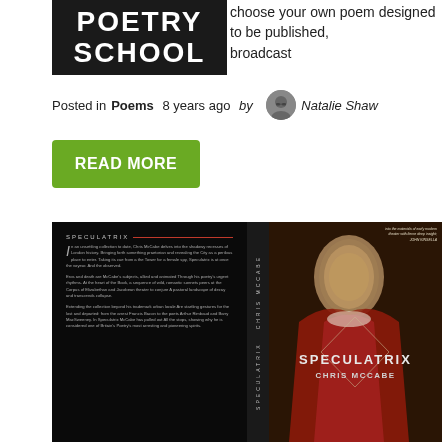[Figure (logo): Poetry School logo — white text on black background]
choose your own poem designed to be published, broadcast
Posted in Poems 8 years ago by Natalie Shaw
READ MORE
[Figure (photo): Book cover of SPECULATRIX by Chris McCabe — dark background with text panels and a portrait painting of a historical figure in period costume on the right side]